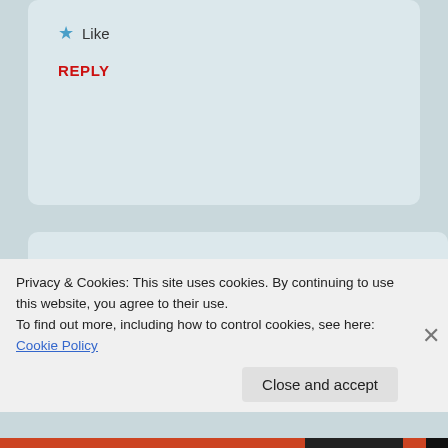★ Like
REPLY
Medora Chevalier  September 3, 2017 — 10:38 pm
Is this the last flowering of these great species
Privacy & Cookies: This site uses cookies. By continuing to use this website, you agree to their use. To find out more, including how to control cookies, see here: Cookie Policy
Close and accept